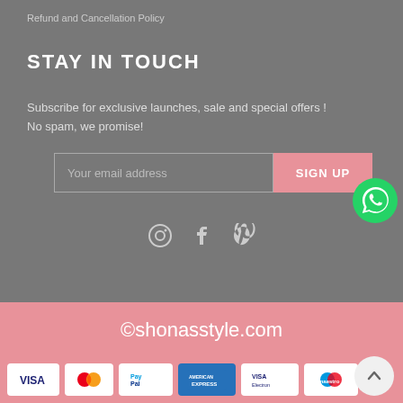Refund and Cancellation Policy
STAY IN TOUCH
Subscribe for exclusive launches, sale and special offers ! No spam, we promise!
[Figure (screenshot): Email subscription form with text input 'Your email address' and pink 'SIGN UP' button]
[Figure (logo): WhatsApp green circle icon]
[Figure (infographic): Social media icons: Instagram, Facebook, Pinterest]
©shonasstyle.com
[Figure (infographic): Payment method logos: VISA, MasterCard, PayPal, American Express, VISA Electron, Maestro]